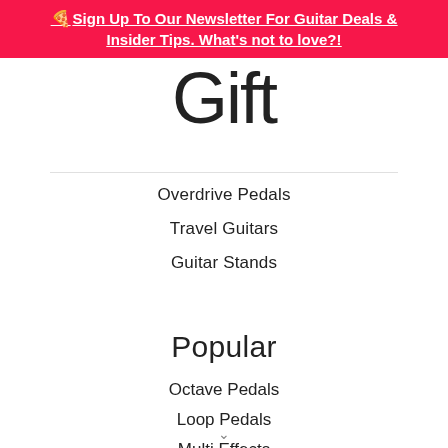🍕 Sign Up To Our Newsletter For Guitar Deals & Insider Tips. What's not to love?!
Gift
Overdrive Pedals
Travel Guitars
Guitar Stands
Popular
Octave Pedals
Loop Pedals
Multi Effects
7 String Guitars
Tremolo Pedals